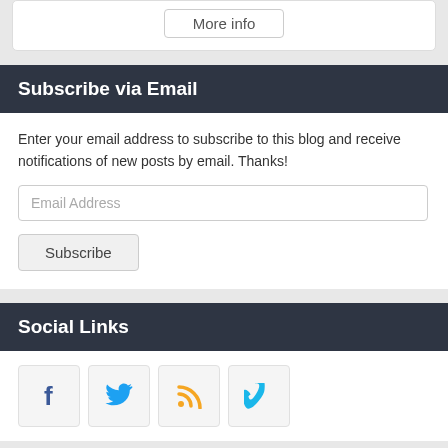More info
Subscribe via Email
Enter your email address to subscribe to this blog and receive notifications of new posts by email. Thanks!
Email Address
Subscribe
Social Links
[Figure (other): Social media icons: Facebook (blue), Twitter (blue), RSS (orange), Vimeo (blue)]